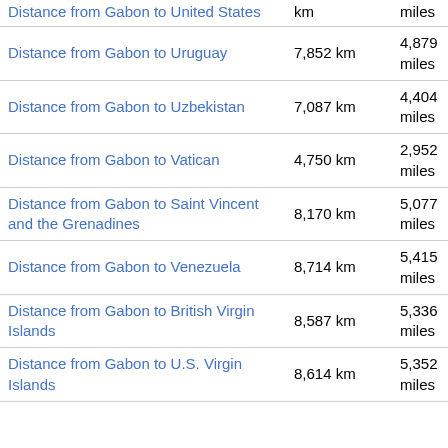| Route | km | miles |
| --- | --- | --- |
| Distance from Gabon to United States | km | miles |
| Distance from Gabon to Uruguay | 7,852 km | 4,879 miles |
| Distance from Gabon to Uzbekistan | 7,087 km | 4,404 miles |
| Distance from Gabon to Vatican | 4,750 km | 2,952 miles |
| Distance from Gabon to Saint Vincent and the Grenadines | 8,170 km | 5,077 miles |
| Distance from Gabon to Venezuela | 8,714 km | 5,415 miles |
| Distance from Gabon to British Virgin Islands | 8,587 km | 5,336 miles |
| Distance from Gabon to U.S. Virgin Islands | 8,614 km | 5,352 miles |